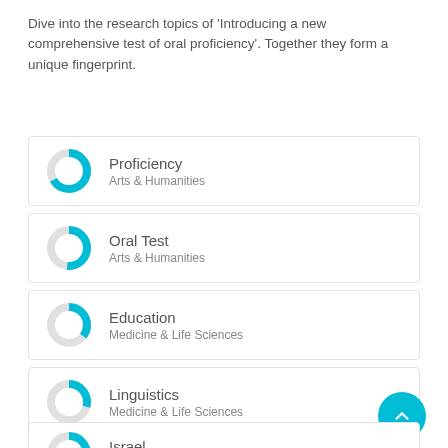Dive into the research topics of 'Introducing a new comprehensive test of oral proficiency'. Together they form a unique fingerprint.
Proficiency
Arts & Humanities
Oral Test
Arts & Humanities
Education
Medicine & Life Sciences
Linguistics
Medicine & Life Sciences
Israel
Medicine & Life Sciences